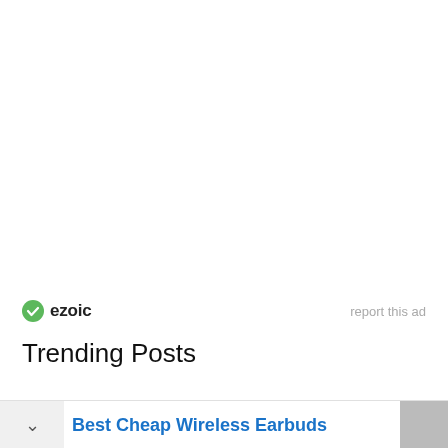[Figure (logo): Ezoic logo badge with green circle checkmark icon and bold text 'ezoic', followed by 'report this ad' link in light gray]
Trending Posts
Best Cheap Wireless Earbuds